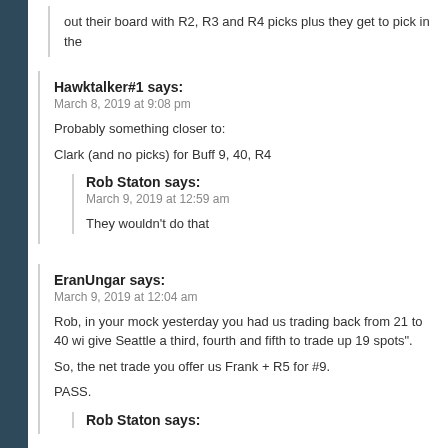out their board with R2, R3 and R4 picks plus they get to pick in the
Hawktalker#1 says:
March 8, 2019 at 9:08 pm

Probably something closer to:

Clark (and no picks) for Buff 9, 40, R4
Rob Staton says:
March 9, 2019 at 12:59 am

They wouldn't do that
EranUngar says:
March 9, 2019 at 12:04 am

Rob, in your mock yesterday you had us trading back from 21 to 40 wi give Seattle a third, fourth and fifth to trade up 19 spots".

So, the net trade you offer us Frank + R5 for #9.

PASS.
Rob Staton says: